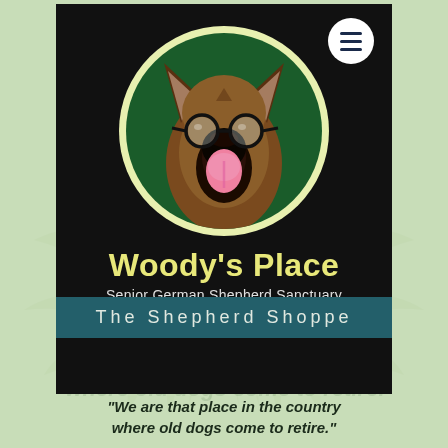[Figure (logo): Woody's Place Senior German Shepherd Sanctuary logo: illustrated German Shepherd dog wearing round glasses, shown from the front with mouth open and tongue out, inside a yellow-rimmed circle on a dark green background, all on a black banner. Includes organization name 'Woody's Place', subtitle 'Senior German Shepherd Sanctuary', and tagline 'We are that place in the country where old dogs come to retire.' A hamburger menu button appears in the upper right.]
The Shepherd Shoppe
"We are that place in the country where old dogs come to retire."